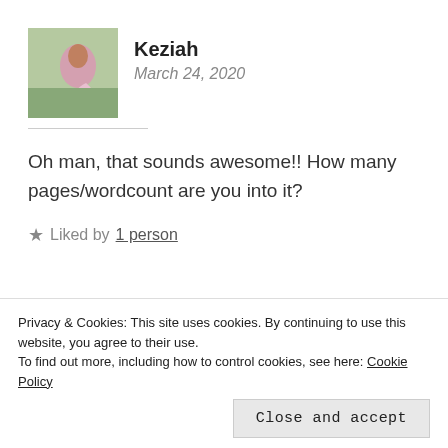[Figure (photo): Avatar photo of Keziah showing a woman in a pink dress outdoors]
Keziah
March 24, 2020
Oh man, that sounds awesome!! How many pages/wordcount are you into it?
Liked by 1 person
[Figure (photo): Avatar photo of jmshistorycorner showing a dark figure with a hat]
jmshistorycorner
Privacy & Cookies: This site uses cookies. By continuing to use this website, you agree to their use.
To find out more, including how to control cookies, see here: Cookie Policy
Close and accept